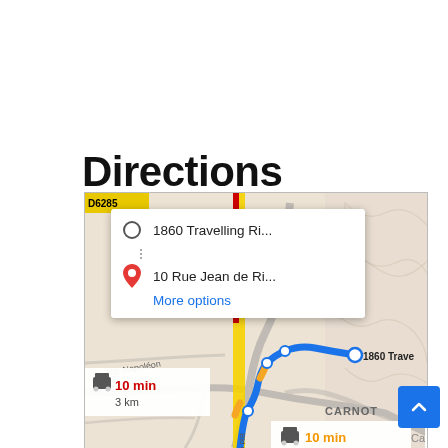Directions
[Figure (screenshot): Google Maps directions screenshot showing route from 1860 Travelling Ri... to 10 Rue Jean de Ri... with a popup showing origin and destination, a blue route line on the map, and two travel time indicators: 10 min / 3 km (red text) and 10 min / 2.2 km (orange text). The map shows the CARNOT area with road D6285 visible.]